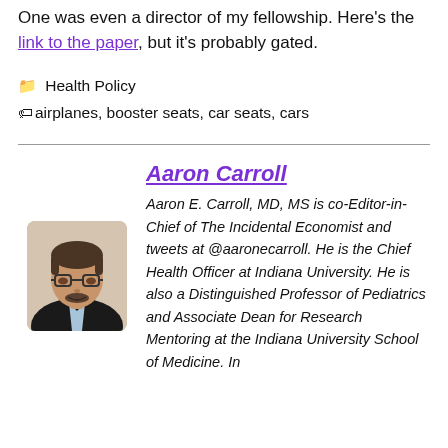One was even a director of my fellowship. Here's the link to the paper, but it's probably gated.
📁 Health Policy
🏷️ airplanes, booster seats, car seats, cars
Aaron Carroll
Aaron E. Carroll, MD, MS is co-Editor-in-Chief of The Incidental Economist and tweets at @aaronecarroll. He is the Chief Health Officer at Indiana University. He is also a Distinguished Professor of Pediatrics and Associate Dean for Research Mentoring at the Indiana University School of Medicine. In